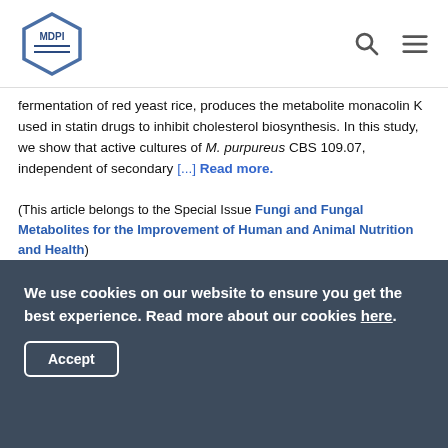MDPI
fermentation of red yeast rice, produces the metabolite monacolin K used in statin drugs to inhibit cholesterol biosynthesis. In this study, we show that active cultures of M. purpureus CBS 109.07, independent of secondary [...] Read more.
(This article belongs to the Special Issue Fungi and Fungal Metabolites for the Improvement of Human and Animal Nutrition and Health)
► Show Figures
Open Access  Article
Yeasts in Liquid Swine Diets: Identification Methods,
We use cookies on our website to ensure you get the best experience. Read more about our cookies here.
Accept